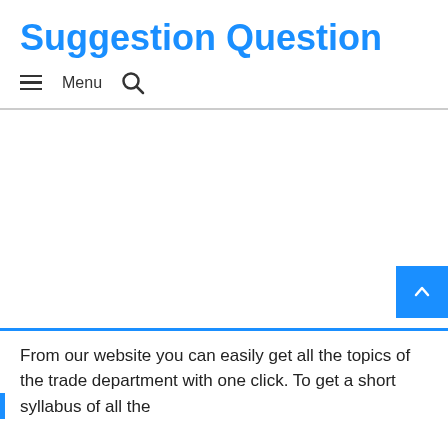Suggestion Question
Menu
[Figure (other): Advertisement or blank content area]
From our website you can easily get all the topics of the trade department with one click. To get a short syllabus of all the